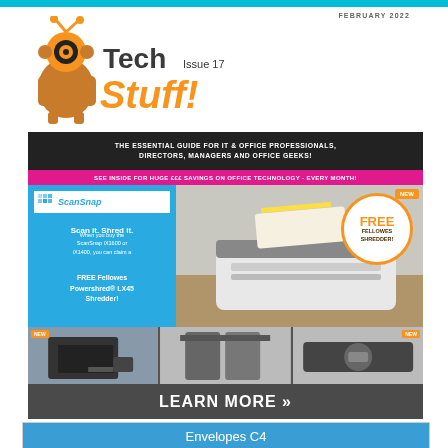FEBRUARY 2022
Tech Stuff! Issue 17
THE ESSENTIAL GUIDE FOR IT & OFFICE PROFESSIONALS, DIRECTORS, MANAGERS AND OFFICE GEEKS!
SEE INSIDE FOR HUGE £££ SAVINGS ON OFFICE TECHNOLOGY - EVERY MONTH!
[Figure (illustration): ScanSnap scanner advertisement with FREE Fellowes Shredder offer. Blue panel left with Scan it. Shred it. text, scanner product image right, circular badge showing FREE FELLOWES SHREDDER, NEW badge top right.]
Scan it. Shred it. When you buy the ScanSnap iX1600 or iX1400, you can claim a FREE Fellowes Powershred® LX45 Shredder!
[Figure (illustration): Three product thumbnail images in a row with NEW badges, followed by LEARN MORE >> bar in dark grey]
LEARN MORE »
Envelopes C4